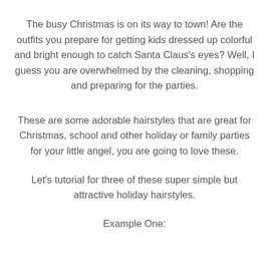The busy Christmas is on its way to town! Are the outfits you prepare for getting kids dressed up colorful and bright enough to catch Santa Claus's eyes? Well, I guess you are overwhelmed by the cleaning, shopping and preparing for the parties.
These are some adorable hairstyles that are great for Christmas, school and other holiday or family parties for your little angel, you are going to love these.
Let's tutorial for three of these super simple but attractive holiday hairstyles.
Example One: